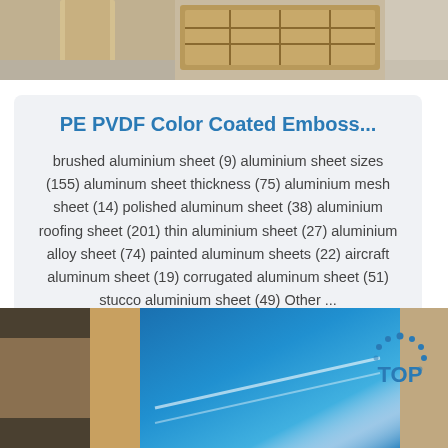[Figure (photo): Top photo showing a wooden crate or pallet being handled in an industrial/warehouse setting]
PE PVDF Color Coated Emboss...
brushed aluminium sheet (9) aluminium sheet sizes (155) aluminum sheet thickness (75) aluminium mesh sheet (14) polished aluminum sheet (38) aluminium roofing sheet (201) thin aluminium sheet (27) aluminium alloy sheet (74) painted aluminum sheets (22) aircraft aluminum sheet (19) corrugated aluminum sheet (51) stucco aluminium sheet (49) Other ...
Get Price
[Figure (photo): Bottom photo showing blue aluminum sheet/coil material being handled]